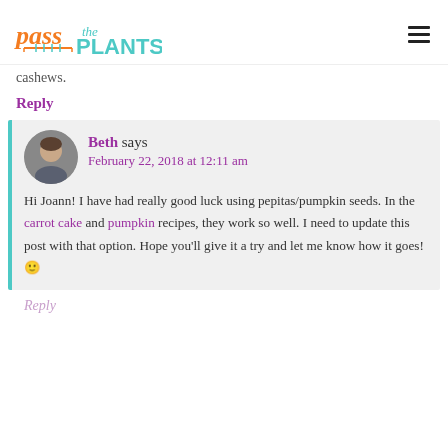pass the PLANTS
cashews.
Reply
Beth says
February 22, 2018 at 12:11 am

Hi Joann! I have had really good luck using pepitas/pumpkin seeds. In the carrot cake and pumpkin recipes, they work so well. I need to update this post with that option. Hope you'll give it a try and let me know how it goes! 🙂
Reply